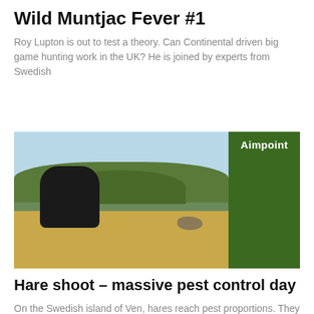Wild Muntjac Fever #1
Roy Lupton is out to test a theory. Can Continental driven big game hunting work in the UK? He is joined by experts from Swedish
[Figure (photo): A hunter kneeling in a field aiming a rifle, with a hare visible in the background. An Aimpoint logo/branding panel appears on the right side of the image.]
Hare shoot – massive pest control day
On the Swedish island of Ven, hares reach pest proportions. They have no natural predators. There are no